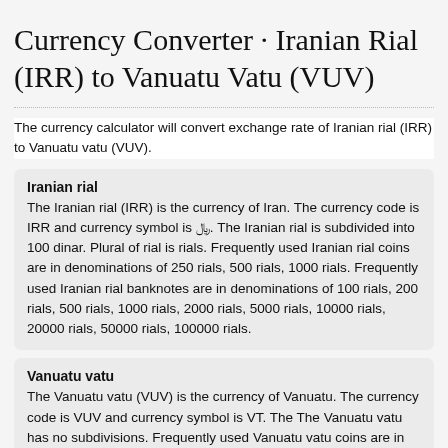Currency Converter · Iranian Rial (IRR) to Vanuatu Vatu (VUV)
The currency calculator will convert exchange rate of Iranian rial (IRR) to Vanuatu vatu (VUV).
Iranian rial
The Iranian rial (IRR) is the currency of Iran. The currency code is IRR and currency symbol is ﷼. The Iranian rial is subdivided into 100 dinar. Plural of rial is rials. Frequently used Iranian rial coins are in denominations of 250 rials, 500 rials, 1000 rials. Frequently used Iranian rial banknotes are in denominations of 100 rials, 200 rials, 500 rials, 1000 rials, 2000 rials, 5000 rials, 10000 rials, 20000 rials, 50000 rials, 100000 rials.
Vanuatu vatu
The Vanuatu vatu (VUV) is the currency of Vanuatu. The currency code is VUV and currency symbol is VT. The The Vanuatu vatu has no subdivisions. Frequently used Vanuatu vatu coins are in denominations